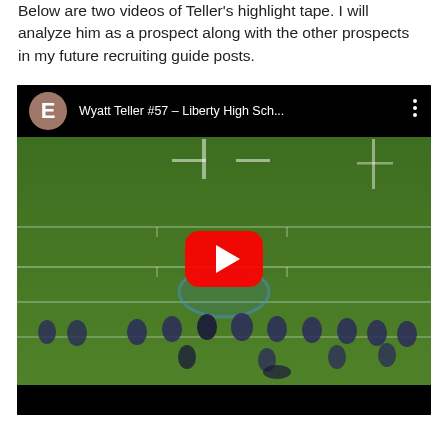Below are two videos of Teller's highlight tape. I will analyze him as a prospect along with the other prospects in my future recruiting guide posts.
[Figure (screenshot): YouTube video embed showing Wyatt Teller #57 – Liberty High Sch... on a football field at night, with a red YouTube play button overlay in the center.]